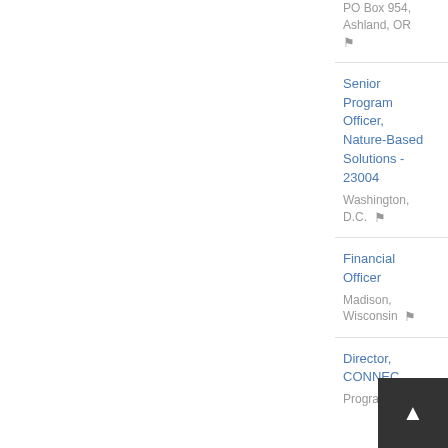PO Box 954, Ashland, OR
Senior Program Officer, Nature-Based Solutions - 23004
Washington, D.C.
Financial Officer
Madison, Wisconsin
Director, CONNEC... Program